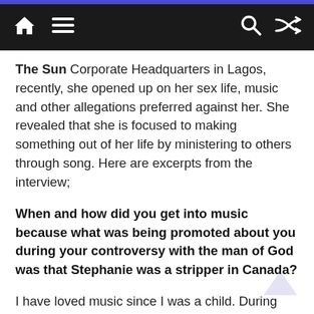Navigation bar with home, menu, search, and shuffle icons
The Sun Corporate Headquarters in Lagos, recently, she opened up on her sex life, music and other allegations preferred against her. She revealed that she is focused to making something out of her life by ministering to others through song. Here are excerpts from the interview;
When and how did you get into music because what was being promoted about you during your controversy with the man of God was that Stephanie was a stripper in Canada?
I have loved music since I was a child. During children functions at the church, I would take the lead roles. I did choreography and worship. Since then, I had loved to sing when I grew older and become a star. I was doing secular music before I